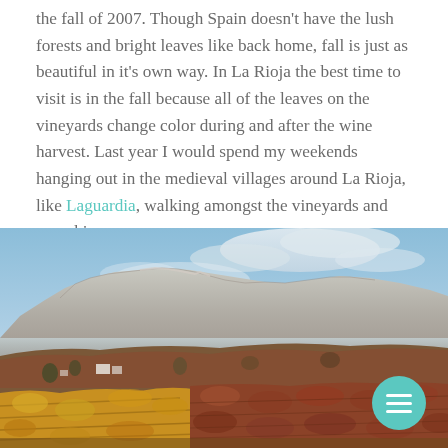the fall of 2007. Though Spain doesn't have the lush forests and bright leaves like back home, fall is just as beautiful in it's own way. In La Rioja the best time to visit is in the fall because all of the leaves on the vineyards change color during and after the wine harvest. Last year I would spend my weekends hanging out in the medieval villages around La Rioja, like Laguardia, walking amongst the vineyards and munching on grapes.
[Figure (photo): Autumn landscape in La Rioja, Spain showing vineyards with red and golden leaves in the foreground, a wide valley in the middle ground, and a dramatic rocky mountain range (Sierra Cantabria) under a partly cloudy blue sky in the background.]